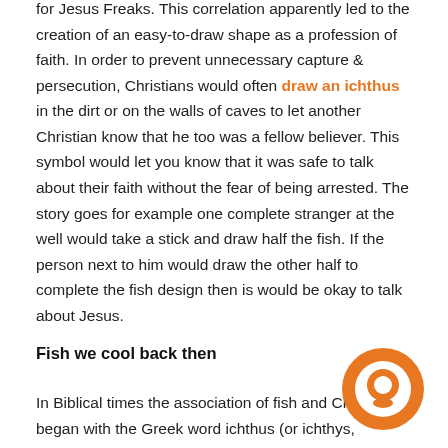for Jesus Freaks. This correlation apparently led to the creation of an easy-to-draw shape as a profession of faith. In order to prevent unnecessary capture & persecution, Christians would often draw an ichthus in the dirt or on the walls of caves to let another Christian know that he too was a fellow believer. This symbol would let you know that it was safe to talk about their faith without the fear of being arrested. The story goes for example one complete stranger at the well would take a stick and draw half the fish. If the person next to him would draw the other half to complete the fish design then is would be okay to talk about Jesus.
Fish we cool back then
In Biblical times the association of fish and Christianity began with the Greek word ichthus (or ichthys, Strong's